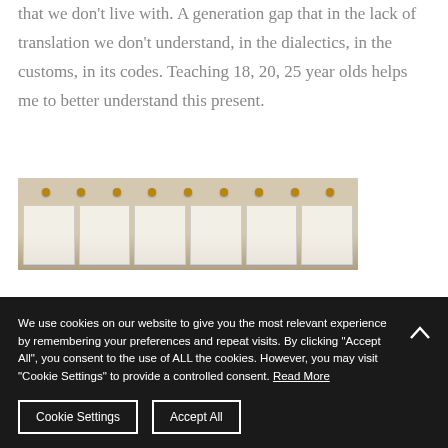that we don't live with. A generation gap that in the lack of translation we don't understand, in the dialectics, in the customs, in its codes. Teaching 18, 20, 25 year olds helps me to better understand this present.
[Figure (photo): A photo of papers or cards pinned to a wall, showing a display board with small documents attached with brown/golden pins.]
We use cookies on our website to give you the most relevant experience by remembering your preferences and repeat visits. By clicking "Accept All", you consent to the use of ALL the cookies. However, you may visit "Cookie Settings" to provide a controlled consent. Read More
Cookie Settings   Accept All